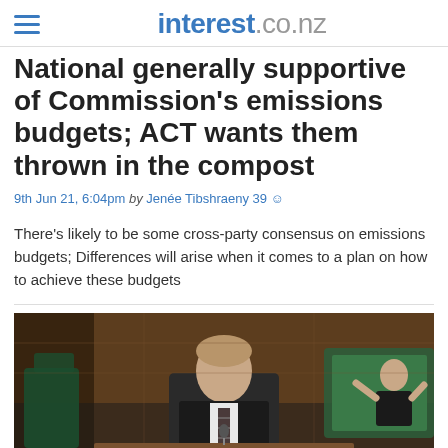interest.co.nz
National generally supportive of Commission's emissions budgets; ACT wants them thrown in the compost
9th Jun 21, 6:04pm by Jenée Tibshraeny 39
There's likely to be some cross-party consensus on emissions budgets; Differences will arise when it comes to a plan on how to achieve these budgets
[Figure (photo): Photo of a man in a suit speaking at a podium in what appears to be a parliamentary chamber, with a sign language interpreter visible on a screen in the background right]